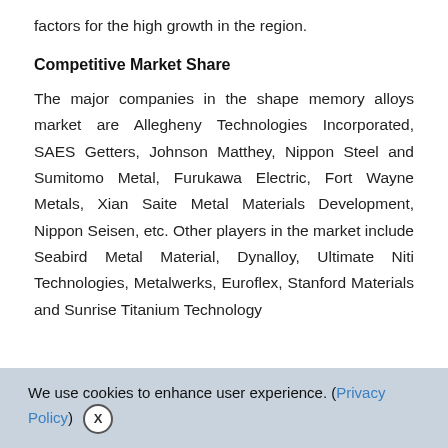factors for the high growth in the region.
Competitive Market Share
The major companies in the shape memory alloys market are Allegheny Technologies Incorporated, SAES Getters, Johnson Matthey, Nippon Steel and Sumitomo Metal, Furukawa Electric, Fort Wayne Metals, Xian Saite Metal Materials Development, Nippon Seisen, etc. Other players in the market include Seabird Metal Material, Dynalloy, Ultimate Niti Technologies, Metalwerks, Euroflex, Stanford Materials and Sunrise Titanium Technology
We use cookies to enhance user experience. (Privacy Policy) X